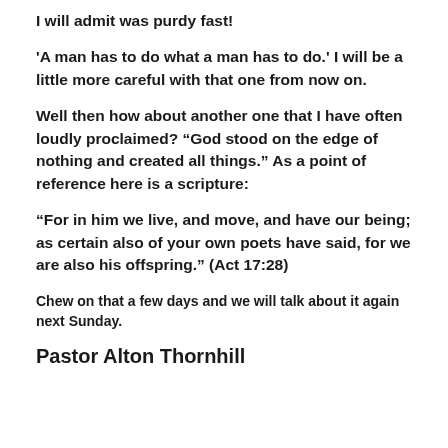I will admit was purdy fast!
'A man has to do what a man has to do.' I will be a little more careful with that one from now on.
Well then how about another one that I have often loudly proclaimed? “God stood on the edge of nothing and created all things.” As a point of reference here is a scripture:
“For in him we live, and move, and have our being; as certain also of your own poets have said, for we are also his offspring.” (Act 17:28)
Chew on that a few days and we will talk about it again next Sunday.
Pastor Alton Thornhill